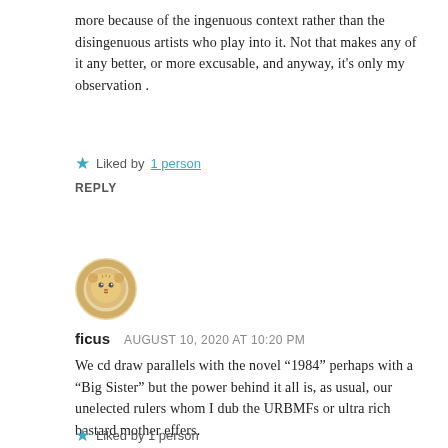more because of the ingenuous context rather than the disingenuous artists who play into it. Not that makes any of it any better, or more excusable, and anyway, it's only my observation .
Liked by 1 person
REPLY
[Figure (illustration): Small circular avatar image of a cartoon lion or animal face, golden/tan color]
ficus   AUGUST 10, 2020 AT 10:20 PM
We cd draw parallels with the novel “1984” perhaps with a “Big Sister” but the power behind it all is, as usual, our unelected rulers whom I dub the URBMFs or ultra rich bastard mother effers.
Liked by 1 person